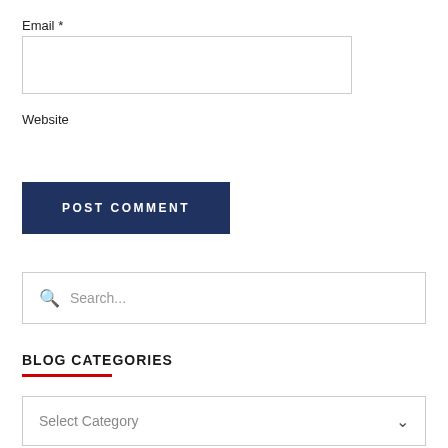Email *
[Figure (screenshot): Empty email input text field with light gray border]
Website
POST COMMENT
[Figure (screenshot): Search box with magnifying glass icon and placeholder text 'Search...']
BLOG CATEGORIES
[Figure (screenshot): Dropdown select box with 'Select Category' placeholder and chevron arrow]